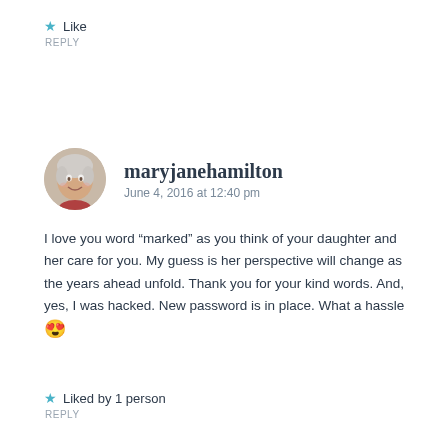Like
REPLY
[Figure (photo): Circular avatar photo of a woman with light gray/white hair, smiling]
maryjanehamilton
June 4, 2016 at 12:40 pm
I love you word “marked” as you think of your daughter and her care for you. My guess is her perspective will change as the years ahead unfold. Thank you for your kind words. And, yes, I was hacked. New password is in place. What a hassle 😍
Liked by 1 person
REPLY